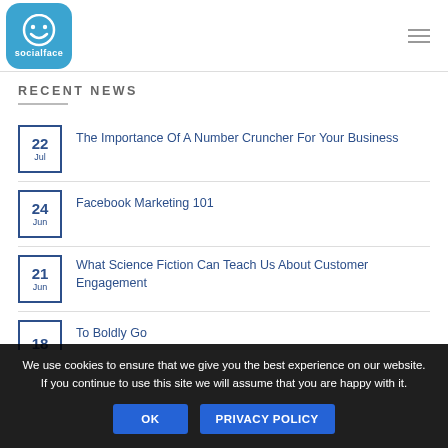[Figure (logo): Socialface logo: blue rounded square with white smiley face icon and 'socialface' text below]
RECENT NEWS
22 Jul — The Importance Of A Number Cruncher For Your Business
24 Jun — Facebook Marketing 101
21 Jun — What Science Fiction Can Teach Us About Customer Engagement
18 — To Boldly Go
We use cookies to ensure that we give you the best experience on our website. If you continue to use this site we will assume that you are happy with it.